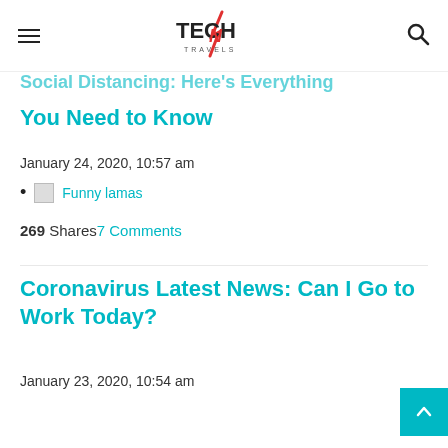Tech N Travels — hamburger menu and search icon
Social Distancing: Here's Everything You Need to Know
January 24, 2020, 10:57 am
Funny lamas
269 Shares 7 Comments
Coronavirus Latest News: Can I Go to Work Today?
January 23, 2020, 10:54 am